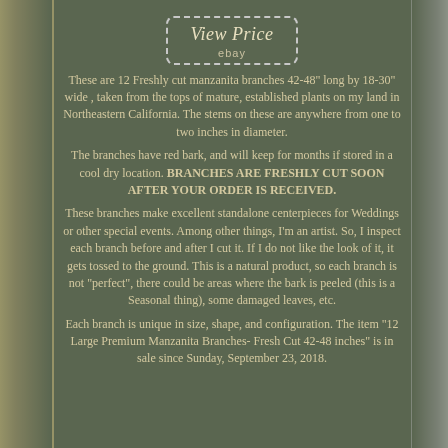[Figure (other): View Price button styled with dashed border, with 'View Price' in italic serif font and 'ebay' below it]
These are 12 Freshly cut manzanita branches 42-48" long by 18-30" wide , taken from the tops of mature, established plants on my land in Northeastern California. The stems on these are anywhere from one to two inches in diameter.
The branches have red bark, and will keep for months if stored in a cool dry location. BRANCHES ARE FRESHLY CUT SOON AFTER YOUR ORDER IS RECEIVED.
These branches make excellent standalone centerpieces for Weddings or other special events. Among other things, I'm an artist. So, I inspect each branch before and after I cut it. If I do not like the look of it, it gets tossed to the ground. This is a natural product, so each branch is not "perfect", there could be areas where the bark is peeled (this is a Seasonal thing), some damaged leaves, etc.
Each branch is unique in size, shape, and configuration. The item "12 Large Premium Manzanita Branches- Fresh Cut 42-48 inches" is in sale since Sunday, September 23, 2018.